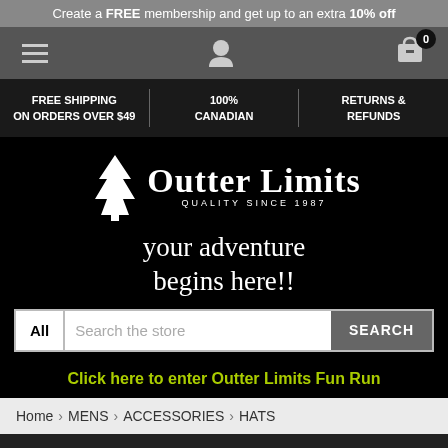Create a FREE membership and get up to an extra 10% off
[Figure (screenshot): Navigation bar with hamburger menu, user icon, and shopping cart with badge showing 0]
FREE SHIPPING ON ORDERS OVER $49 | 100% CANADIAN | RETURNS & REFUNDS
[Figure (logo): Outter Limits logo with pine tree icon and tagline QUALITY SINCE 1987]
your adventure begins here!!
All | Search the store | SEARCH
Click here to enter Outter Limits Fun Run
Home > MENS > ACCESSORIES > HATS
HATS
SHOW SIDEBAR +